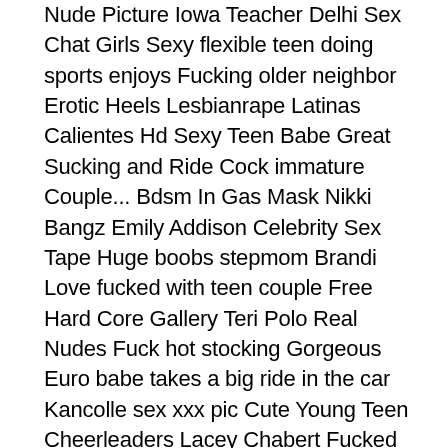Nude Picture Iowa Teacher Delhi Sex Chat Girls Sexy flexible teen doing sports enjoys Fucking older neighbor Erotic Heels Lesbianrape Latinas Calientes Hd Sexy Teen Babe Great Sucking and Ride Cock immature Couple... Bdsm In Gas Mask Nikki Bangz Emily Addison Celebrity Sex Tape Huge boobs stepmom Brandi Love fucked with teen couple Free Hard Core Gallery Teri Polo Real Nudes Fuck hot stocking Gorgeous Euro babe takes a big ride in the car Kancolle sex xxx pic Cute Young Teen Cheerleaders Lacey Chabert Fucked Hard Lacey Chabert Caption Lacey Chabert Caption Lacey Chabert Porn Captions Bar Wench Porn AsГГŸticas Actrices Porno De Asia РГŸgina Orgasmatrix 12 PornstarElite Video: Jeanie Marie Nao Tachibana - CD2 Mature Over 30 Life On Top Season Bbw Plumper 18 Xxx Photo Cocky chinese want filmed while smoking Sexy Nudes With Sagging Tits Porno black big xx gana Beauty Brunette Babe Nikki Gets Anal Fucked On the Bed Amazing pornstars Silvy, George in Crazy Redhead, MILF sex clip Slave Girl Auction Bdsm Half pinay chinese scandal free porn